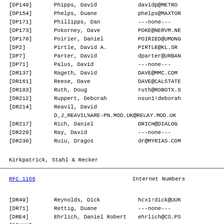[DP149]   Phipps, David        davidp@METRO
[DP154]   Phelps, Duane        phelps@MAXTOR
[DP171]   Phillipps, Dan       ---none---
[DP173]   Pokorney, Dave       POKE@NERVM.NE
[DP178]   Poirier, Daniel      POIRIED@UMONG
[DP2]     Pirtle, David A.     PIRTLE@KL.SR
[DP7]     Parter, David        dparter@URBAN
[DP71]    Palus, David         ---none---
[DR137]   Rageth, David        DAVE@MMC.COM
[DR161]   Reese, Dave          DAVE@CALSTATE
[DR183]   Ruth, Doug           ruth@ROBOTX.S
[DR212]   Ruppert, Deborah     nsun1!deborah
[DR214]   Reavil, David        D_J_REAVIL%ARE-PN.MOD.UK@RELAY.MOD.UK
[DR217]   Rich, Daniel         DRICH@DIALOG
[DR229]   Ray, David           ---none---
[DR230]   Ruiu, Dragos         dr@MYRIAS.COM
Kirkpatrick, Stahl & Recker
RFC 1166                        Internet Numbers
[DR49]    Reynolds, Dick       hcx1!dick@UUK
[DR71]    Rettig, Duane        ---none---
[DRE4]    Ehrlich, Daniel Robert  ehrlich@CS.PS
[DRWXX]   ...